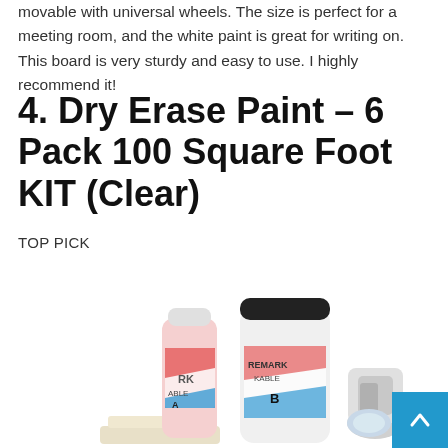movable with universal wheels. The size is perfect for a meeting room, and the white paint is great for writing on. This board is very sturdy and easy to use. I highly recommend it!
4. Dry Erase Paint – 6 Pack 100 Square Foot KIT (Clear)
TOP PICK
[Figure (photo): Product photo showing Remarkable dry erase paint kit components including bottles labeled A and B, a roller, and accessories on a white background.]